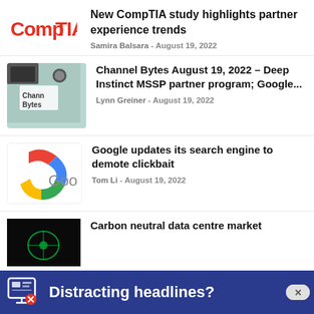[Figure (logo): CompTIA logo in red]
New CompTIA study highlights partner experience trends
Samira Balsara - August 19, 2022
[Figure (photo): Channel Bytes thumbnail - teal background with Channel Bytes label]
Channel Bytes August 19, 2022 – Deep Instinct MSSP partner program; Google...
Lynn Greiner - August 19, 2022
[Figure (logo): Google logo partial]
Google updates its search engine to demote clickbait
Tom Li - August 19, 2022
[Figure (photo): Dark data centre image]
Carbon neutral data centre market
[Figure (infographic): Blue banner ad: Distracting headlines?]